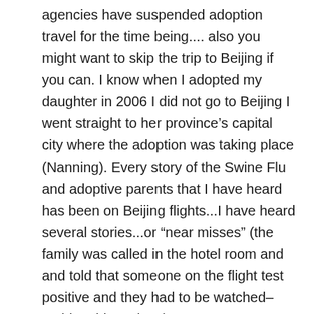agencies have suspended adoption travel for the time being.... also you might want to skip the trip to Beijing if you can. I know when I adopted my daughter in 2006 I did not go to Beijing I went straight to her province’s capital city where the adoption was taking place (Nanning). Every story of the Swine Flu and adoptive parents that I have heard has been on Beijing flights...I have heard several stories...or “near misses” (the family was called in the hotel room and and told that someone on the flight test positive and they had to be watched– nothing this serious).